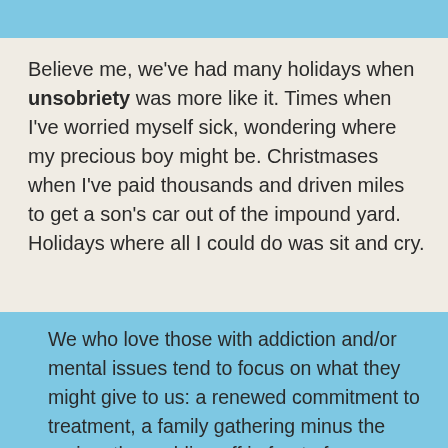[Figure (other): Blue decorative bar at the top of the page]
Believe me, we've had many holidays when un-sobriety was more like it. Times when I've worried myself sick, wondering where my precious boy might be. Christmases when I've paid thousands and driven miles to get a son's car out of the impound yard. Holidays where all I could do was sit and cry.
We who love those with addiction and/or mental issues tend to focus on what they might give to us: a renewed commitment to treatment, a family gathering minus the raging, the nodding off in front of your judgmental aunt, a return to before. Before